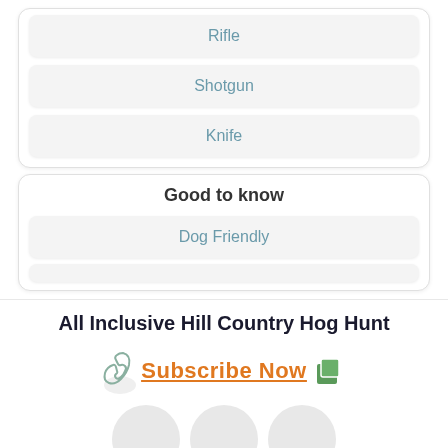Rifle
Shotgun
Knife
Good to know
Dog Friendly
All Inclusive Hill Country Hog Hunt
Subscribe Now